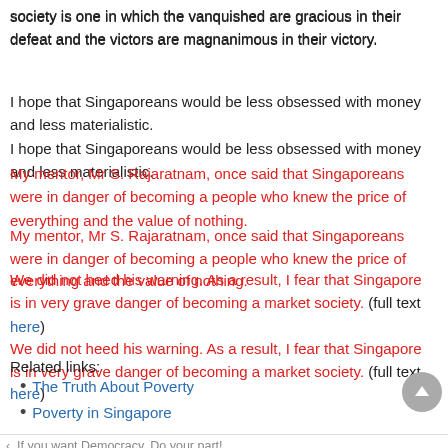society is one in which the vanquished are gracious in their defeat and the victors are magnanimous in their victory.
I hope that Singaporeans would be less obsessed with money and less materialistic.
My mentor, Mr S. Rajaratnam, once said that Singaporeans were in danger of becoming a people who knew the price of everything and the value of nothing.
We did not heed his warning. As a result, I fear that Singapore is in very grave danger of becoming a market society. (full text here)
Related links:
The Truth About Poverty
Poverty in Singapore
◄  If you want Democracy, Do your part!
Lopsided, biased reporting by main stream media: The